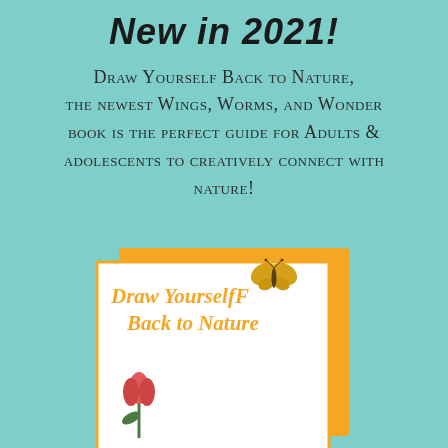New in 2021!
Draw Yourself Back to Nature, the newest Wings, Worms, and Wonder book is the perfect guide for Adults & adolescents to creatively connect with nature!
[Figure (illustration): Book cover for 'Draw Yourself Back to Nature' shown with a yellow/orange bordered white cover featuring the title in italic yellow script, a butterfly illustration, and a tulip/flower illustration at the bottom. An orange card is visible slightly behind/offset the white book cover.]